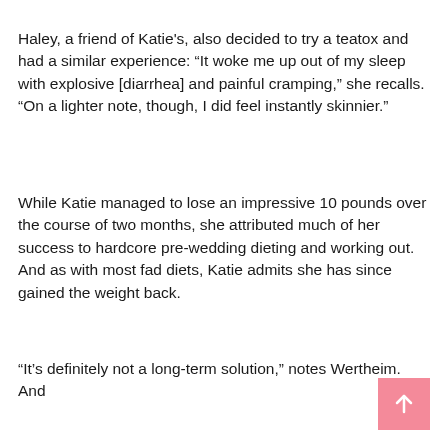Haley, a friend of Katie's, also decided to try a teatox and had a similar experience: “It woke me up out of my sleep with explosive [diarrhea] and painful cramping,” she recalls. “On a lighter note, though, I did feel instantly skinnier.”
While Katie managed to lose an impressive 10 pounds over the course of two months, she attributed much of her success to hardcore pre-wedding dieting and working out. And as with most fad diets, Katie admits she has since gained the weight back.
“It’s definitely not a long-term solution,” notes Wertheim. And